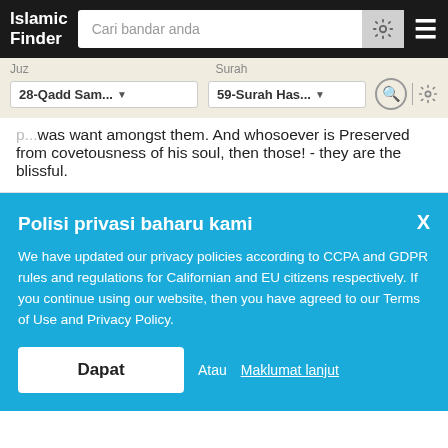Islamic Finder — Cari bandar anda
Juz · Surah
28-Qadd Sam... · 59-Surah Has...
...was want amongst them. And whosoever is Preserved from covetousness of his soul, then those! - they are the blissful.
Polisi privasi baharu kami
We have updated our privacy policies according to CCPA and GDPR rules and regulations for Californian and EU citizens respectively. If you continue using our website, then you have agreed to our Terms of Use and Privacy Policy.
Dapat   Atau  Maklumat lanjut